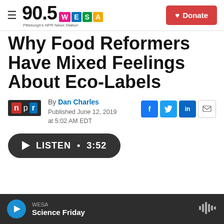90.5 WESA — Pittsburgh's NPR News Station | Donate
Why Food Reformers Have Mixed Feelings About Eco-Labels
By Dan Charles
Published June 12, 2019 at 5:02 AM EDT
[Figure (other): Listen button: play triangle icon, LISTEN • 3:52]
WESA — Science Friday (audio player bar)